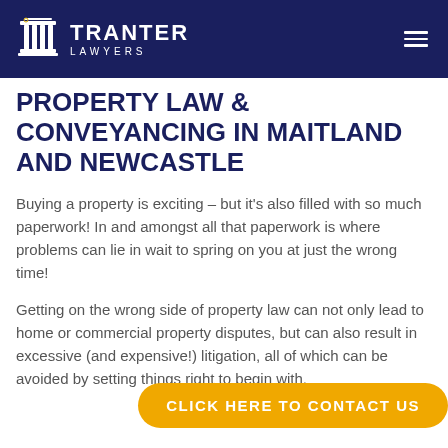TRANTER LAWYERS
PROPERTY LAW & CONVEYANCING IN MAITLAND AND NEWCASTLE
Buying a property is exciting – but it's also filled with so much paperwork! In and amongst all that paperwork is where problems can lie in wait to spring on you at just the wrong time!
Getting on the wrong side of property law can not only lead to home or commercial property disputes, but can also result in excessive (and expensive!) litigation, all of which can be avoided by setting things right to begin with.
CLICK HERE TO CONTACT US